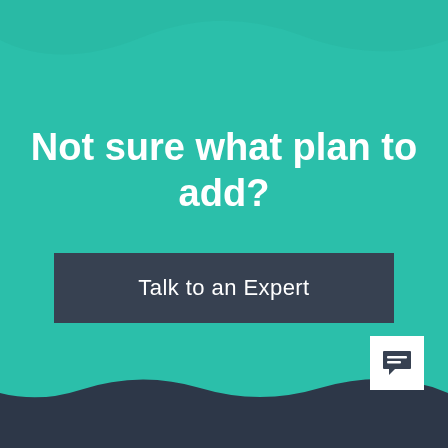Not sure what plan to add?
Talk to an Expert
[Figure (illustration): Wavy teal background with dark navy wave at the bottom, white chat icon in bottom right corner]